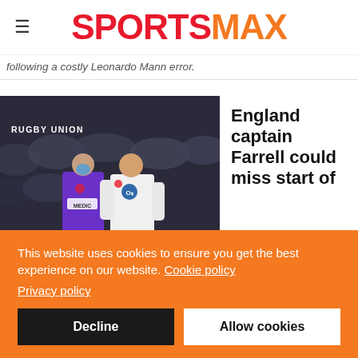SPORTSMAX
following a costly Leonardo Mann error.
[Figure (photo): Rugby union photo: An England rugby player in white jersey standing next to a medical staff member in purple vest labelled MEDIC, with crowd in background. Label: RUGBY UNION]
England captain Farrell could miss start of
This website uses cookies to ensure you get the best experience on our website. Cookie policy Privacy policy
Decline  Allow cookies